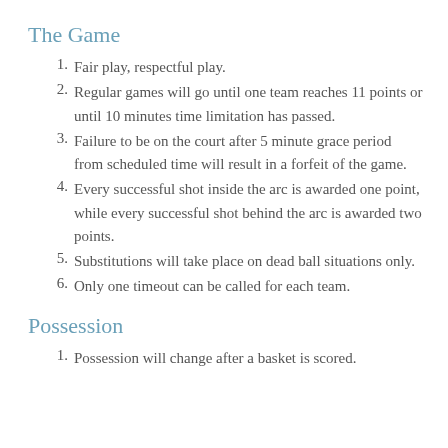The Game
Fair play, respectful play.
Regular games will go until one team reaches 11 points or until 10 minutes time limitation has passed.
Failure to be on the court after 5 minute grace period from scheduled time will result in a forfeit of the game.
Every successful shot inside the arc is awarded one point, while every successful shot behind the arc is awarded two points.
Substitutions will take place on dead ball situations only.
Only one timeout can be called for each team.
Possession
Possession will change after a basket is scored.